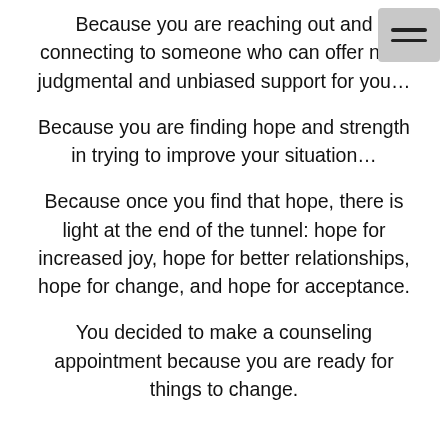Because you are reaching out and connecting to someone who can offer non-judgmental and unbiased support for you…
Because you are finding hope and strength in trying to improve your situation…
Because once you find that hope, there is light at the end of the tunnel: hope for increased joy, hope for better relationships, hope for change, and hope for acceptance.
You decided to make a counseling appointment because you are ready for things to change.